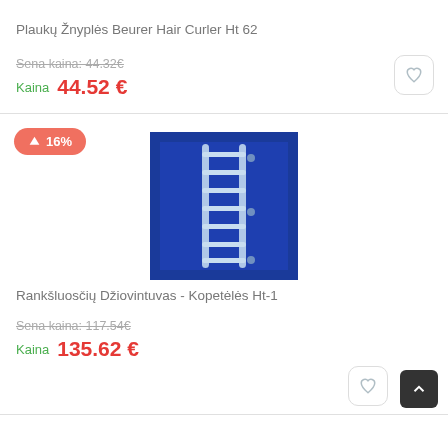Plaukų Žnyplės Beurer Hair Curler Ht 62
Sena kaina: 44.32€
Kaina  44.52 €
[Figure (photo): Towel rack / ladder-style heated towel dryer on blue background]
↑ 16%
Rankšluosčių Džiovintuvas - Kopetėlės Ht-1
Sena kaina: 117.54€
Kaina  135.62 €